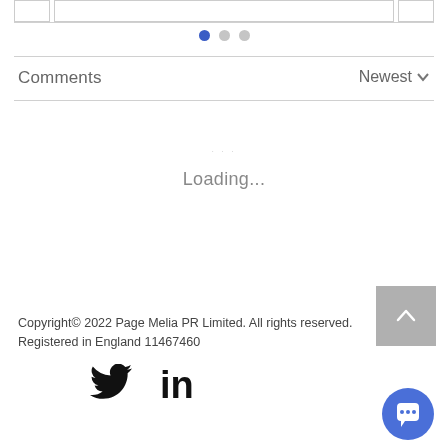[Figure (screenshot): Top partial card row with small card, large card, and small card, with a horizontal divider below]
[Figure (infographic): Pagination dots: one blue active dot and two grey inactive dots]
Comments
Newest ∨
Loading...
Copyright© 2022 Page Melia PR Limited. All rights reserved.
Registered in England 11467460
[Figure (infographic): Twitter bird icon and LinkedIn 'in' icon in black]
[Figure (infographic): Grey square scroll-to-top button with upward chevron icon]
[Figure (infographic): Blue circular chat/message button with speech bubble icon]